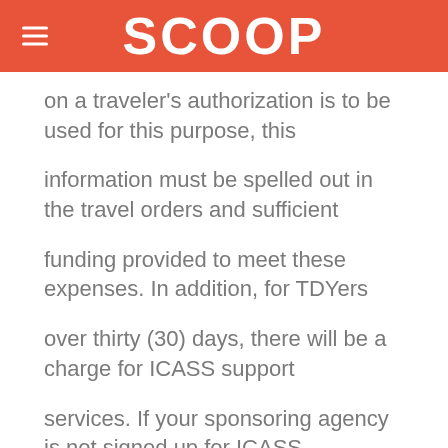SCOOP
on a traveler's authorization is to be used for this purpose, this
information must be spelled out in the travel orders and sufficient
funding provided to meet these expenses. In addition, for TDYers
over thirty (30) days, there will be a charge for ICASS support
services. If your sponsoring agency is not signed up for ICASS
services at post, please be prepared to sign an ICASS Memorandum of
Understanding (MOU) for ICASS support services